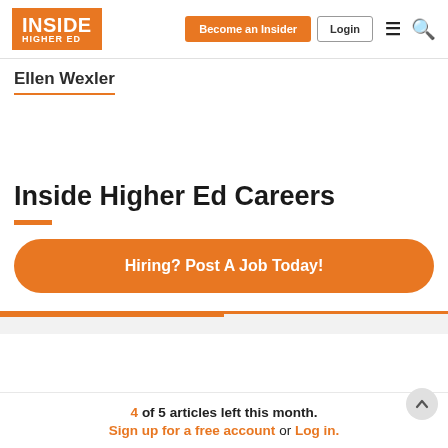Inside Higher Ed — Become an Insider | Login
Ellen Wexler
Inside Higher Ed Careers
Hiring? Post A Job Today!
4 of 5 articles left this month. Sign up for a free account or Log in.